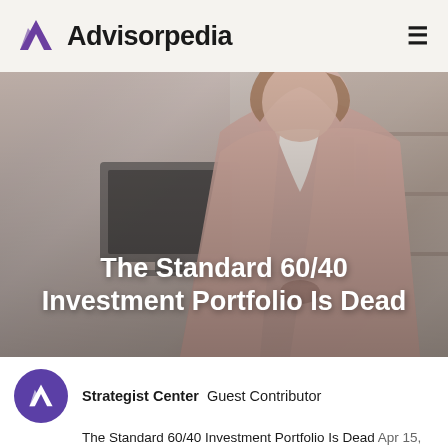Advisorpedia
[Figure (photo): A woman in a pink blazer standing in a modern office environment with a computer monitor and shelves in the background. Article hero image.]
The Standard 60/40 Investment Portfolio Is Dead
Strategist Center  Guest Contributor
The Standard 60/40 Investment Portfolio Is Dead  Apr 15, 2022